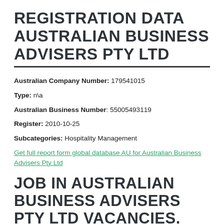REGISTRATION DATA AUSTRALIAN BUSINESS ADVISERS PTY LTD
Australian Company Number: 179541015
Type: n\a
Australian Business Number: 55005493119
Register: 2010-10-25
Subcategories: Hospitality Management
Get full report form global database AU for Australian Business Advisers Pty Ltd
JOB IN AUSTRALIAN BUSINESS ADVISERS PTY LTD VACANCIES.